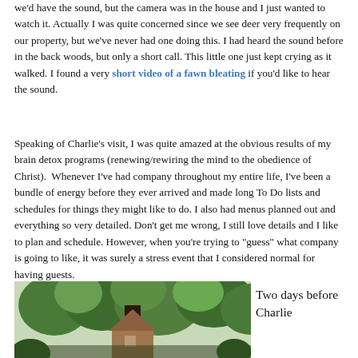we'd have the sound, but the camera was in the house and I just wanted to watch it. Actually I was quite concerned since we see deer very frequently on our property, but we've never had one doing this. I had heard the sound before in the back woods, but only a short call. This little one just kept crying as it walked. I found a very short video of a fawn bleating if you'd like to hear the sound.
Speaking of Charlie's visit, I was quite amazed at the obvious results of my brain detox programs (renewing/rewiring the mind to the obedience of Christ). Whenever I've had company throughout my entire life, I've been a bundle of energy before they ever arrived and made long To Do lists and schedules for things they might like to do. I also had menus planned out and everything so very detailed. Don't get me wrong, I still love details and I like to plan and schedule. However, when you're trying to "guess" what company is going to like, it was surely a stress event that I considered normal for having guests.
[Figure (photo): Photo of a wooded area with a house/cabin structure partially visible among trees with green foliage]
Two days before Charlie